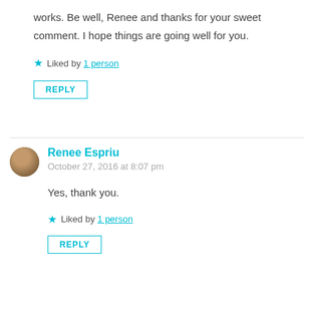works. Be well, Renee and thanks for your sweet comment. I hope things are going well for you.
Liked by 1 person
REPLY
Renee Espriu
October 27, 2016 at 8:07 pm
Yes, thank you.
Liked by 1 person
REPLY